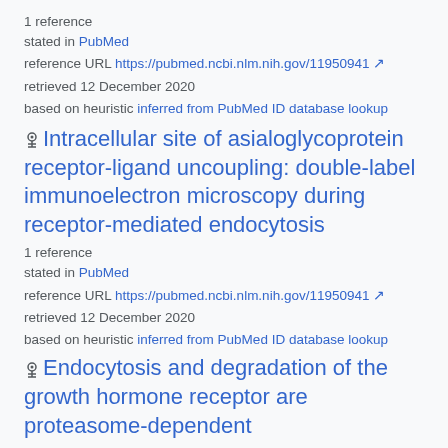1 reference
stated in PubMed
reference URL https://pubmed.ncbi.nlm.nih.gov/11950941
retrieved 12 December 2020
based on heuristic inferred from PubMed ID database lookup
Intracellular site of asialoglycoprotein receptor-ligand uncoupling: double-label immunoelectron microscopy during receptor-mediated endocytosis
1 reference
stated in PubMed
reference URL https://pubmed.ncbi.nlm.nih.gov/11950941
retrieved 12 December 2020
based on heuristic inferred from PubMed ID database lookup
Endocytosis and degradation of the growth hormone receptor are proteasome-dependent
1 reference